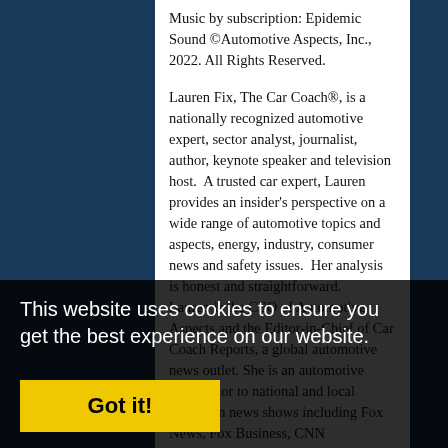Music by subscription: Epidemic Sound ©Automotive Aspects, Inc., 2022. All Rights Reserved.
Lauren Fix, The Car Coach®, is a nationally recognized automotive expert, sector analyst, journalist, author, keynote speaker and television host.  A trusted car expert, Lauren provides an insider's perspective on a wide range of automotive topics and aspects, energy, industry, consumer news and safety issues.  Her analysis is honest and straightforward.
Lauren is the CEO of Automotive Aspects and the Editor-in-Chief of Car Coach Reports, a global automotive news outlet. She is an automotive contributor to national and local television news shows including Fox News, Fox Business, CNN International, The Weather Channel, Inside Edition, Community Digital News, Local Now News, NewsMax and more. Lauren
This website uses cookies to ensure you get the best experience on our website.
Got it!